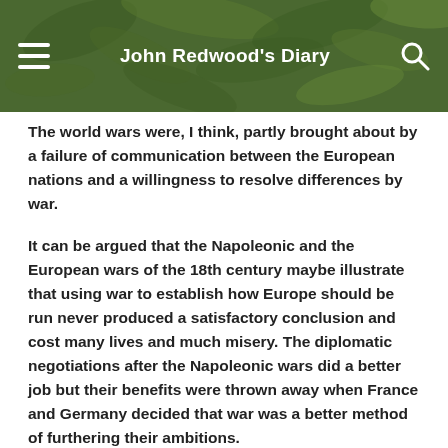John Redwood's Diary
The world wars were, I think, partly brought about by a failure of communication between the European nations and a willingness to resolve differences by war.
It can be argued that the Napoleonic and the European wars of the 18th century maybe illustrate that using war to establish how Europe should be run never produced a satisfactory conclusion and cost many lives and much misery. The diplomatic negotiations after the Napoleonic wars did a better job but their benefits were thrown away when France and Germany decided that war was a better method of furthering their ambitions.
But I agree that the lessons of history are nearly always double-edged. You could argue that Britain would be better off